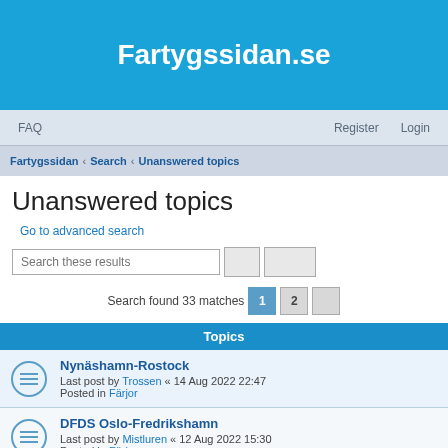Fartygssidan.se
FAQ  Register  Login
Fartygssidan › Search › Unanswered topics
Unanswered topics
Go to advanced search
Search these results
Search found 33 matches  1  2
Topics
Nynäshamn-Rostock
Last post by Trossen « 14 Aug 2022 22:47
Posted in Färjor
DFDS Oslo-Fredrikshamn
Last post by Mistluren « 12 Aug 2022 15:30
Posted in Färjor
STENA ESTELLE